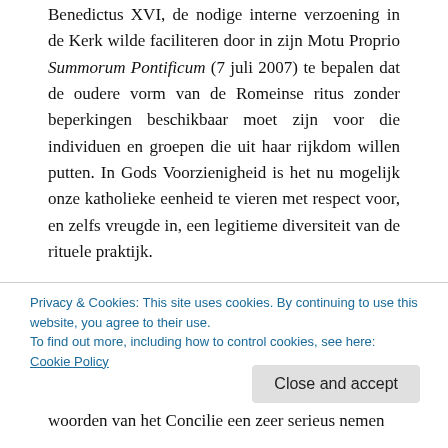Benedictus XVI, de nodige interne verzoening in de Kerk wilde faciliteren door in zijn Motu Proprio Summorum Pontificum (7 juli 2007) te bepalen dat de oudere vorm van de Romeinse ritus zonder beperkingen beschikbaar moet zijn voor die individuen en groepen die uit haar rijkdom willen putten. In Gods Voorzienigheid is het nu mogelijk onze katholieke eenheid te vieren met respect voor, en zelfs vreugde in, een legitieme diversiteit van de rituele praktijk.
We mogen dan een hele nieuwe, moderne liturgie in de volkstaal hebben opgebouwd, maar als we niet de
Privacy & Cookies: This site uses cookies. By continuing to use this website, you agree to their use.
To find out more, including how to control cookies, see here: Cookie Policy
Close and accept
woorden van het Concilie een zeer serieus nemen